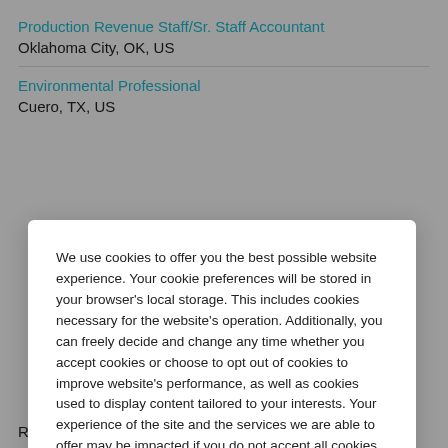Production Revenue Staff/Sr. Staff Accountant
Oklahoma City, OK, US
Environmental Professional
Cuero, TX, US
We use cookies to offer you the best possible website experience. Your cookie preferences will be stored in your browser's local storage. This includes cookies necessary for the website's operation. Additionally, you can freely decide and change any time whether you accept cookies or choose to opt out of cookies to improve website's performance, as well as cookies used to display content tailored to your interests. Your experience of the site and the services we are able to offer may be impacted if you do not accept all cookies.
Modify Cookie Preferences
Accept All Cookies
Roswell, NM, US